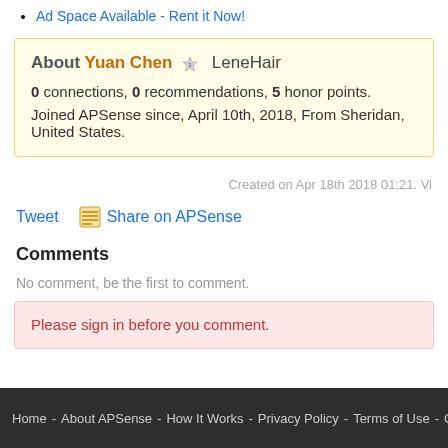Ad Space Available - Rent it Now!
About Yuan Chen ☆1  LeneHair
0 connections, 0 recommendations, 5 honor points.
Joined APSense since, April 10th, 2018, From Sheridan, United States.
Created on Apr 18th 2018 01:21. Vi
Tweet   Share on APSense
Comments
No comment, be the first to comment.
Please sign in before you comment.
Home - About APSense - How It Works - Privacy Policy - Terms of Use - Contact Us